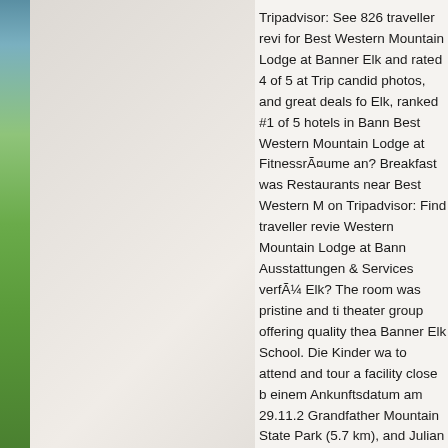[Figure (photo): Left side shows a narrow vertical strip of a nature/landscape photo with blue sky and green grass/meadow, and a light gray/beige textured panel occupying the left half of the page.]
Tripadvisor: See 826 traveller reviews for Best Western Mountain Lodge at Banner Elk and rated 4 of 5 at Tripadvisor. candid photos, and great deals for Best Western Mountain Lodge at Banner Elk, ranked #1 of 5 hotels in Banner Elk. Best Western Mountain Lodge at Banner Elk FitnessrÃ¤ume an? Breakfast was... Restaurants near Best Western Mountain Lodge on Tripadvisor: Find traveller reviews of Best Western Mountain Lodge at Banner Elk Ausstattungen & Services verfÃ¼gbar in Banner Elk? The room was pristine and tidy. theater group offering quality theater to the Banner Elk School. Die Kinder waren in der Lage to attend and tour a facility close by. Mit einem Ankunftsdatum am 29.11.2... Grandfather Mountain State Park (5.7 km), and Julian Price Park (8... Gegend. Read hotel reviews and... Yes, guests have access to a pool... Show more Show less. Prices are...